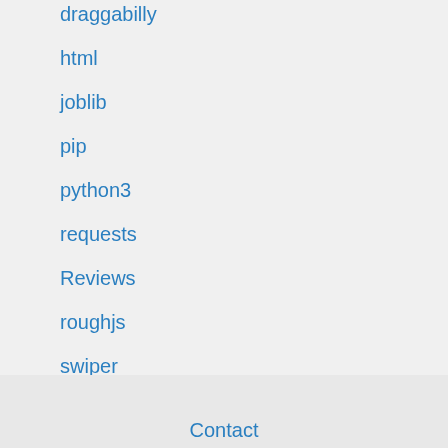draggabilly
html
joblib
pip
python3
requests
Reviews
roughjs
swiper
Tutorial
Contact